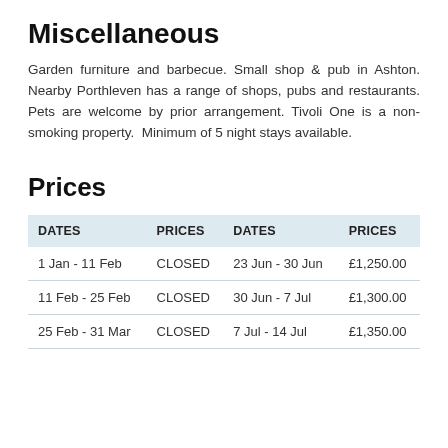Miscellaneous
Garden furniture and barbecue. Small shop & pub in Ashton. Nearby Porthleven has a range of shops, pubs and restaurants. Pets are welcome by prior arrangement. Tivoli One is a non-smoking property.  Minimum of 5 night stays available.
Prices
| DATES | PRICES | DATES | PRICES |
| --- | --- | --- | --- |
| 1 Jan - 11 Feb | CLOSED | 23 Jun - 30 Jun | £1,250.00 |
| 11 Feb - 25 Feb | CLOSED | 30 Jun - 7 Jul | £1,300.00 |
| 25 Feb - 31 Mar | CLOSED | 7 Jul - 14 Jul | £1,350.00 |